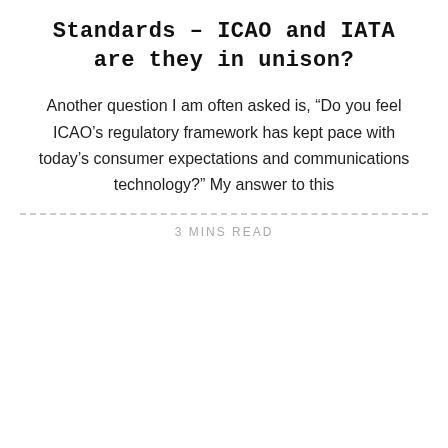Standards – ICAO and IATA are they in unison?
Another question I am often asked is, “Do you feel ICAO’s regulatory framework has kept pace with today’s consumer expectations and communications technology?” My answer to this
3 MINS READ
[Figure (photo): A person photographing with a mobile phone in front of a large fire and smoke cloud. Date badge showing 03 DEC overlaid on the bottom-left of the image area.]